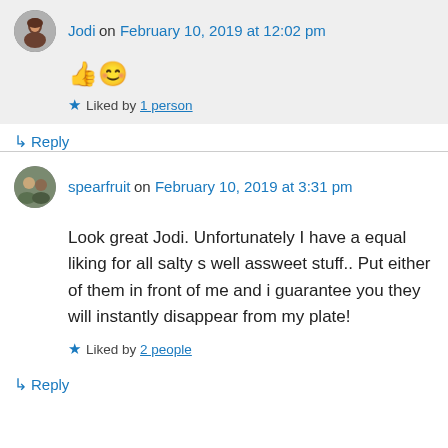Jodi on February 10, 2019 at 12:02 pm
👍😊
Liked by 1 person
↳ Reply
spearfruit on February 10, 2019 at 3:31 pm
Look great Jodi. Unfortunately I have a equal liking for all salty s well assweet stuff.. Put either of them in front of me and i guarantee you they will instantly disappear from my plate!
Liked by 2 people
↳ Reply